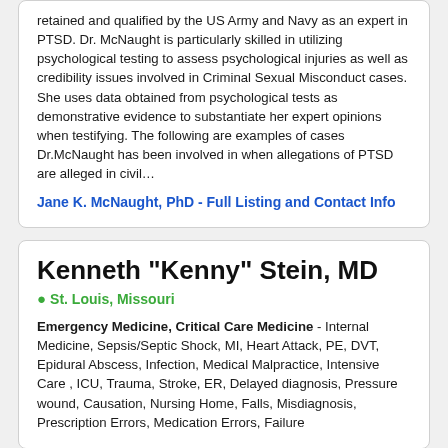retained and qualified by the US Army and Navy as an expert in PTSD. Dr. McNaught is particularly skilled in utilizing psychological testing to assess psychological injuries as well as credibility issues involved in Criminal Sexual Misconduct cases. She uses data obtained from psychological tests as demonstrative evidence to substantiate her expert opinions when testifying. The following are examples of cases Dr.McNaught has been involved in when allegations of PTSD are alleged in civil…
Jane K. McNaught, PhD - Full Listing and Contact Info
Kenneth "Kenny" Stein, MD
St. Louis, Missouri
Emergency Medicine, Critical Care Medicine - Internal Medicine, Sepsis/Septic Shock, MI, Heart Attack, PE, DVT, Epidural Abscess, Infection, Medical Malpractice, Intensive Care , ICU, Trauma, Stroke, ER, Delayed diagnosis, Pressure wound, Causation, Nursing Home, Falls, Misdiagnosis, Prescription Errors, Medication Errors, Failure